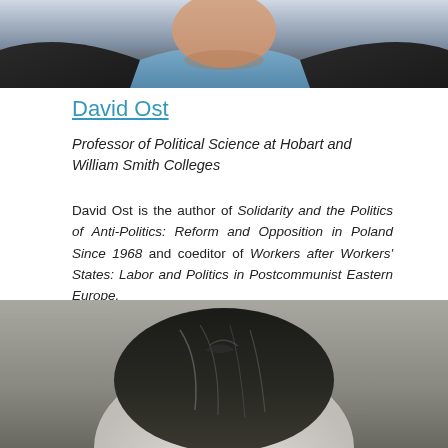[Figure (photo): Partial photo of a man in a dark jacket and blue shirt, cropped at the chin — top portion of profile photo]
David Ost
Professor of Political Science at Hobart and William Smith Colleges
David Ost is the author of Solidarity and the Politics of Anti-Politics: Reform and Opposition in Poland Since 1968 and coeditor of Workers after Workers' States: Labor and Politics in Postcommunist Eastern Europe.
[Figure (photo): Black and white photo of a person with dark hair swept back, viewed from behind/above — bottom portion of next profile photo]